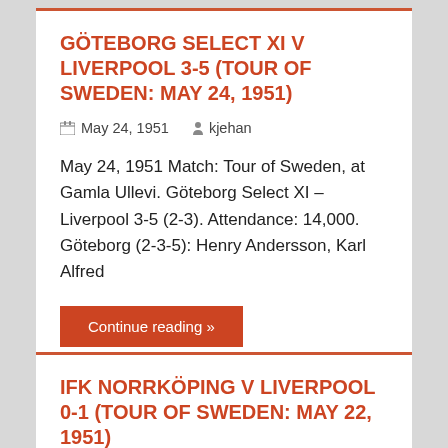GÖTEBORG SELECT XI V LIVERPOOL 3-5 (TOUR OF SWEDEN: MAY 24, 1951)
May 24, 1951   kjehan
May 24, 1951 Match: Tour of Sweden, at Gamla Ullevi. Göteborg Select XI – Liverpool 3-5 (2-3). Attendance: 14,000. Göteborg (2-3-5): Henry Andersson, Karl Alfred
Continue reading »
IFK NORRKÖPING V LIVERPOOL 0-1 (TOUR OF SWEDEN: MAY 22, 1951)